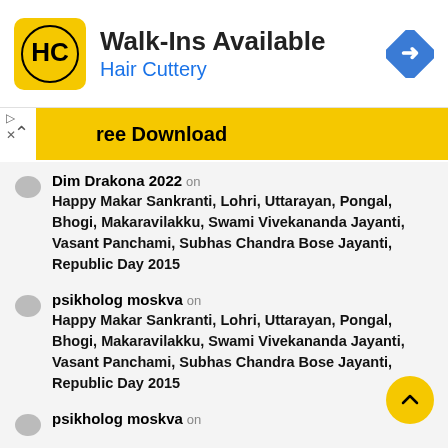[Figure (screenshot): Hair Cuttery advertisement banner with logo, Walk-Ins Available text, and navigation arrow]
[Figure (screenshot): Yellow download banner partially visible]
Dim Drakona 2022 on
Happy Makar Sankranti, Lohri, Uttarayan, Pongal, Bhogi, Makaravilakku, Swami Vivekananda Jayanti, Vasant Panchami, Subhas Chandra Bose Jayanti, Republic Day 2015
psikholog moskva on
Happy Makar Sankranti, Lohri, Uttarayan, Pongal, Bhogi, Makaravilakku, Swami Vivekananda Jayanti, Vasant Panchami, Subhas Chandra Bose Jayanti, Republic Day 2015
psikholog moskva on